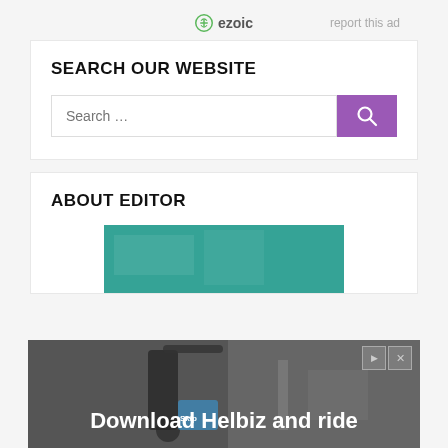[Figure (logo): Ezoic logo with 'report this ad' text on the right]
SEARCH OUR WEBSITE
[Figure (screenshot): Search bar with purple search button and magnifying glass icon]
ABOUT EDITOR
[Figure (photo): Teal/green background image (top of about editor section)]
[Figure (screenshot): Overlay ad: scooter photo with text 'Download Helbiz and ride' and close/report controls]